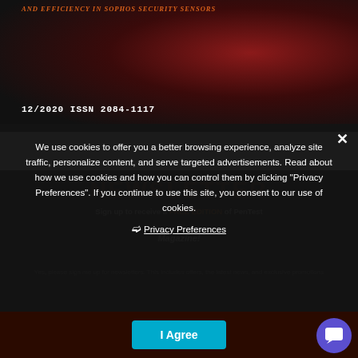[Figure (photo): Dark cybersecurity themed image with reddish glow, showing a figure and digital background. Text overlay: 'AND EFFICIENCY IN SOPHOS SECURITY SENSORS' and '12/2020 ISSN 2084-1117']
NEWSLETTER
Sign up to receive a FREE EDITION of PenTest Magazine
We use cookies to offer you a better browsing experience, analyze site traffic, personalize content, and serve targeted advertisements. Read about how we use cookies and how you can control them by clicking "Privacy Preferences". If you continue to use this site, you consent to our use of cookies.
❯ Privacy Preferences
Yes, please sign me up for newsletters. This includes offers, the latest news, and exclusive promotions
I Agree